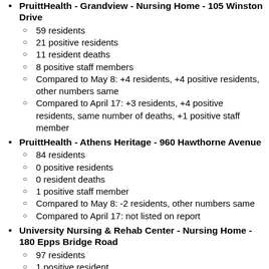PruittHealth - Grandview - Nursing Home - 105 Winston Drive
59 residents
21 positive residents
11 resident deaths
8 positive staff members
Compared to May 8: +4 residents, +4 positive residents, other numbers same
Compared to April 17: +3 residents, +4 positive residents, same number of deaths, +1 positive staff member
PruittHealth - Athens Heritage - 960 Hawthorne Avenue
84 residents
0 positive residents
0 resident deaths
1 positive staff member
Compared to May 8: -2 residents, other numbers same
Compared to April 17: not listed on report
University Nursing & Rehab Center - Nursing Home - 180 Epps Bridge Road
97 residents
1 positive resident
0 resident deaths
2 positive staff members
Compared to May 8: +1 resident, other numbers